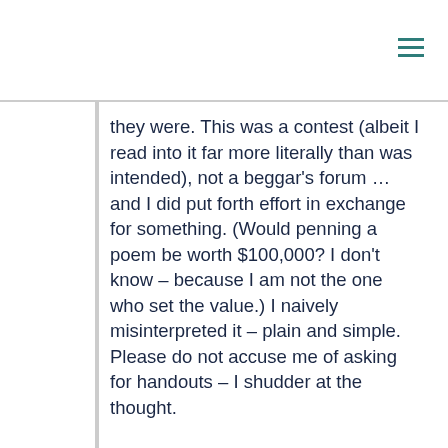they were. This was a contest (albeit I read into it far more literally than was intended), not a beggar's forum … and I did put forth effort in exchange for something. (Would penning a poem be worth $100,000? I don't know – because I am not the one who set the value.) I naively misinterpreted it – plain and simple. Please do not accuse me of asking for handouts – I shudder at the thought.
I whole-heartedly agree that we live in a world where so many people are 'waiting' for someone else to come along and do their work for them … rest assured, this is not me. It is easy to imply that what is